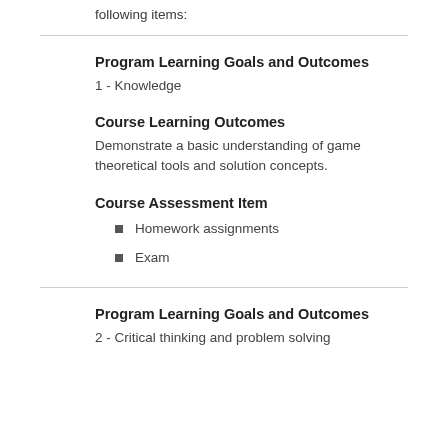following items:
Program Learning Goals and Outcomes
1 - Knowledge
Course Learning Outcomes
Demonstrate a basic understanding of game theoretical tools and solution concepts.
Course Assessment Item
Homework assignments
Exam
Program Learning Goals and Outcomes
2 - Critical thinking and problem solving